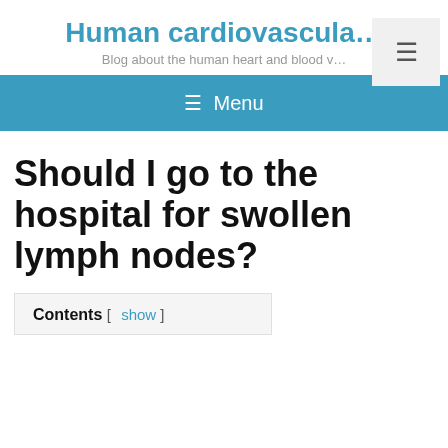Human cardiovascula…
Blog about the human heart and blood v…
≡ Menu
Should I go to the hospital for swollen lymph nodes?
Contents [ show ]